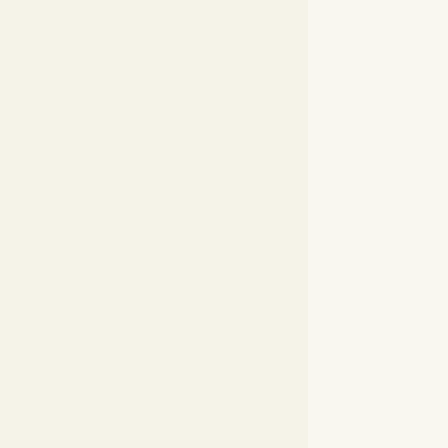maintaining this po have not. For if I pa providing the one i other.
This can be clarifie myself, I shall see t from the point of v looking after 200 p practice today the s on the fact that a s based on self-inter universal.
A "practical" thinker better wage condit through meaning w But it is important all our social and